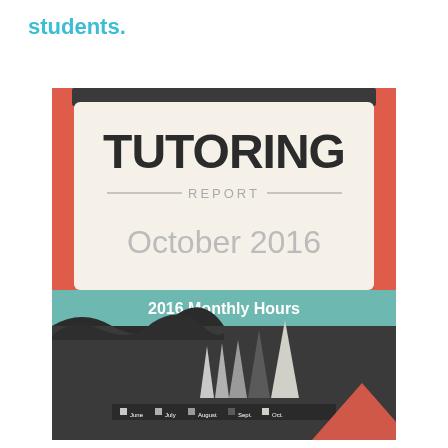students.
[Figure (infographic): Tutoring Report infographic cover for October 2016 with a coral/red background, a chalkboard-style banner at top, a cream-colored title box showing 'TUTORING REPORT October 2016', a teal band labeled '2016 Monthly Hours', and a dark charcoal lower section showing triangular bar chart shapes for months June, July, August, Sept, Oct with varying heights and shades.]